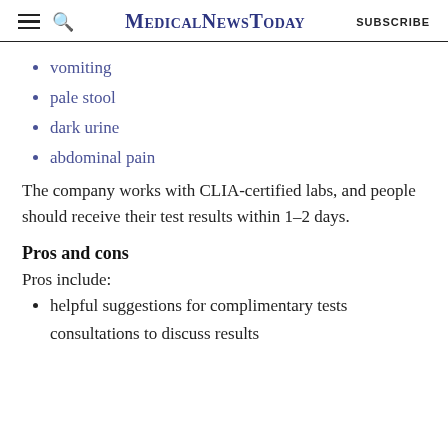MedicalNewsToday | SUBSCRIBE
vomiting
pale stool
dark urine
abdominal pain
The company works with CLIA-certified labs, and people should receive their test results within 1–2 days.
Pros and cons
Pros include:
helpful suggestions for complimentary tests
consultations to discuss results